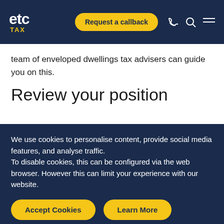etc TAX — Request a callback
team of enveloped dwellings tax advisers can guide you on this.
Review your position
We use cookies to personalise content, provide social media features, and analyse traffic.
To disable cookies, this can be configured via the web browser. However this can limit your experience with our website.
Accept Cookies
Learn More